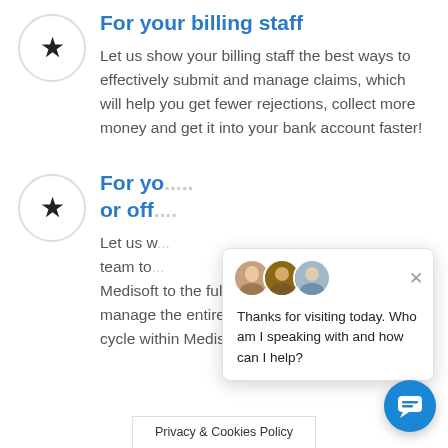For your billing staff
Let us show your billing staff the best ways to effectively submit and manage claims, which will help you get fewer rejections, collect more money and get it into your bank account faster!
For yo... or off...
Let us w... team to... Medisoft to the fullest potential to effectively manage the entire rev... cycle within Medisoft.
[Figure (screenshot): Chat popup overlay with three avatar photos, close button (x), and message: Thanks for visiting today. Who am I speaking with and how can I help?]
[Figure (other): Blue circular chat button icon in bottom right corner]
Privacy & Cookies Policy